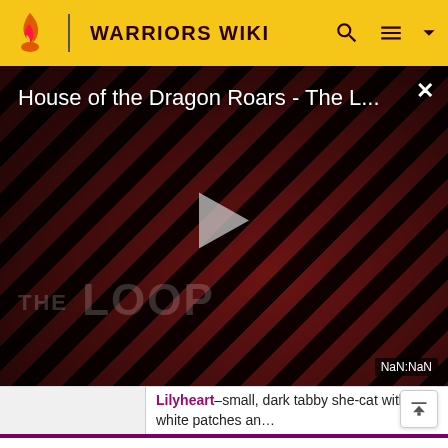WARRIORS WIKI
[Figure (screenshot): Video thumbnail for 'House of the Dragon Roars - The L...' with diagonal red and black stripes background, play button in center, 'THE LOOP' text watermark, and NaN:NaN time indicator]
Lilyheart–small, dark tabby she-cat with white patches and
Onestar's Confession will be released on September 6th. Please do not add spoilers to the character articles until the book's release UTC time. Rabbitear, Bristlebark, and Flytail are the only pages that will be renamed prior.